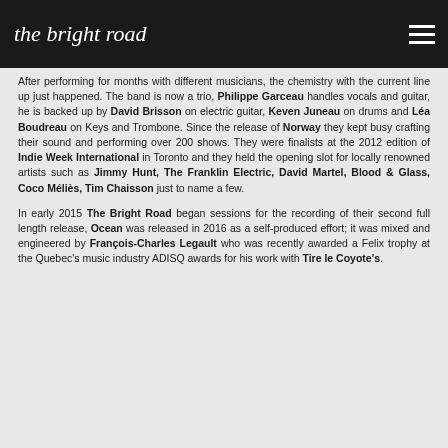the bright road
After performing for months with different musicians, the chemistry with the current line up just happened. The band is now a trio, Philippe Garceau handles vocals and guitar, he is backed up by David Brisson on electric guitar, Keven Juneau on drums and Léa Boudreau on Keys and Trombone. Since the release of Norway they kept busy crafting their sound and performing over 200 shows. They were finalists at the 2012 edition of Indie Week International in Toronto and they held the opening slot for locally renowned artists such as Jimmy Hunt, The Franklin Electric, David Martel, Blood & Glass, Coco Méliès, Tim Chaisson just to name a few.
In early 2015 The Bright Road began sessions for the recording of their second full length release, Ocean was released in 2016 as a self-produced effort; it was mixed and engineered by François-Charles Legault who was recently awarded a Felix trophy at the Quebec's music industry ADISQ awards for his work with Tire le Coyote's.